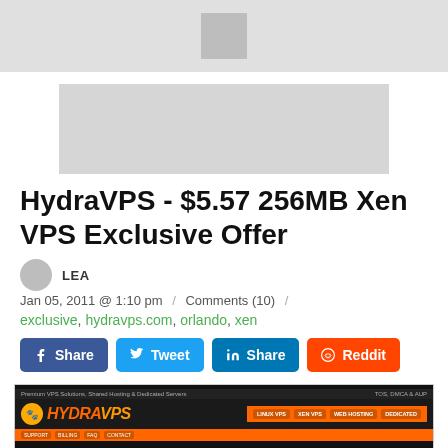[Figure (screenshot): HydraVPS website screenshot showing navigation and logo]
HydraVPS - $5.57 256MB Xen VPS Exclusive Offer
LEA
Jan 05, 2011 @ 1:10 pm / Comments (10) /
exclusive, hydravps.com, orlando, xen
Share Tweet Share Reddit
[Figure (screenshot): HydraVPS website screenshot showing Premium VPS Solutions, Shared Hosting & Dedicated Servers with navigation menu]